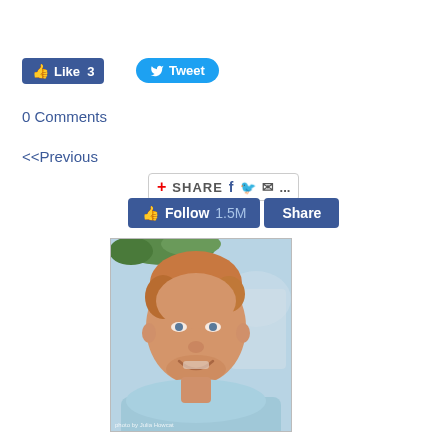[Figure (screenshot): Facebook Like button showing count of 3]
[Figure (screenshot): Twitter Tweet button]
0 Comments
<<Previous
[Figure (screenshot): Share bar with plus icon, SHARE text, Facebook, Twitter, email icons and dots]
[Figure (screenshot): Facebook Follow 1.5M and Share buttons]
[Figure (photo): Portrait photo of a man with reddish-blond hair wearing a light blue shirt, smiling. Photo credit text visible at bottom.]